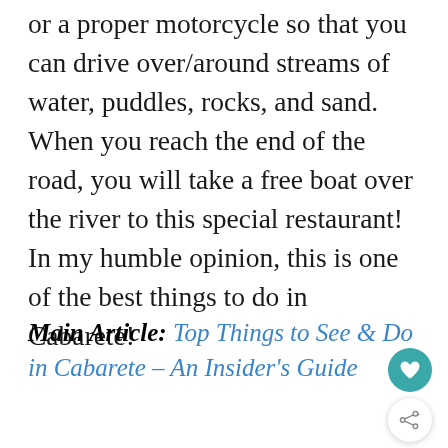or a proper motorcycle so that you can drive over/around streams of water, puddles, rocks, and sand. When you reach the end of the road, you will take a free boat over the river to this special restaurant! In my humble opinion, this is one of the best things to do in Cabarete!
Main Article: Top Things to See & Do in Cabarete – An Insider's Guide